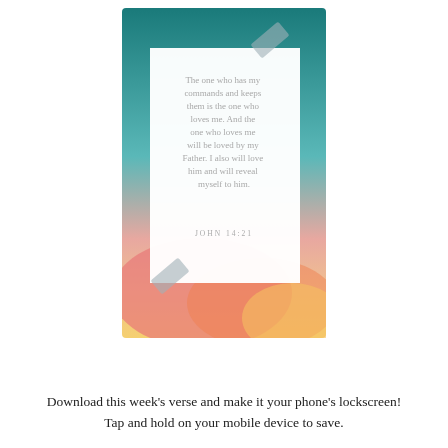[Figure (illustration): A mobile phone screenshot showing a white paper note taped with gray tape pieces on a gradient background (teal at top, warm pink/orange/yellow at bottom). The note displays a Bible verse in gray serif font: 'The one who has my commands and keeps them is the one who loves me. And the one who loves me will be loved by my Father. I also will love him and will reveal myself to him.' with reference 'JOHN 14:21' below in small spaced capitals.]
Download this week’s verse and make it your phone’s lockscreen!
Tap and hold on your mobile device to save.